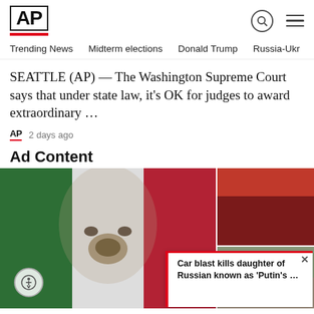AP
Trending News   Midterm elections   Donald Trump   Russia-Ukr
SEATTLE (AP) — The Washington Supreme Court says that under state law, it's OK for judges to award extraordinary …
AP  2 days ago
Ad Content
[Figure (photo): Face painted with Mexican flag colors and design]
[Figure (photo): Red background image top right]
[Figure (photo): Soldiers on street, war scene]
Car blast kills daughter of Russian known as 'Putin's …